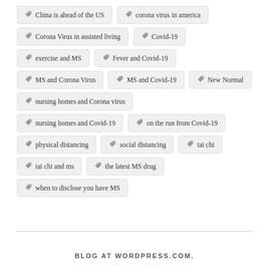China is ahead of the US
corona virus in america
Corona Virus in assisted living
Covid-19
exercise and MS
Fever and Covid-19
MS and Corona Virus
MS and Covid-19
New Normal
nursing homes and Corona virus
nursing homes and Covid-19
on the run from Covid-19
physical distancing
social distancing
tai chi
tai chi and ms
the latest MS drug
when to disclose you have MS
BLOG AT WORDPRESS.COM.